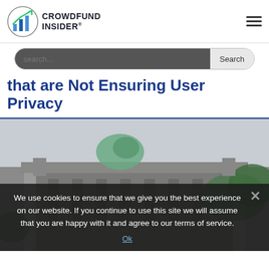CROWDFUND INSIDER
that are Not Ensuring User Privacy
[Figure (photo): Photograph of a historic government or financial building with a green copper statue/sculpture on its rooftop, partially obscured by foliage. Sky is overcast grey.]
We use cookies to ensure that we give you the best experience on our website. If you continue to use this site we will assume that you are happy with it and agree to our terms of service.